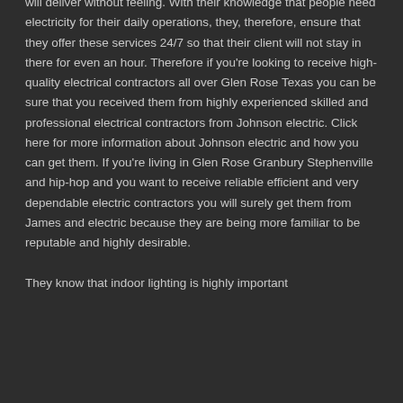will deliver without feeling. With their knowledge that people need electricity for their daily operations, they, therefore, ensure that they offer these services 24/7 so that their client will not stay in there for even an hour. Therefore if you're looking to receive high-quality electrical contractors all over Glen Rose Texas you can be sure that you received them from highly experienced skilled and professional electrical contractors from Johnson electric. Click here for more information about Johnson electric and how you can get them. If you're living in Glen Rose Granbury Stephenville and hip-hop and you want to receive reliable efficient and very dependable electric contractors you will surely get them from James and electric because they are being more familiar to be reputable and highly desirable.
They know that indoor lighting is highly important